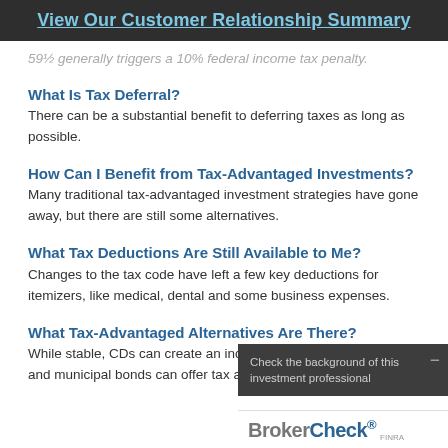View Our Customer Relationship Summary
59½ generally triggers a 10% federal income tax penalty.
What Is Tax Deferral?
There can be a substantial benefit to deferring taxes as long as possible.
How Can I Benefit from Tax-Advantaged Investments?
Many traditional tax-advantaged investment strategies have gone away, but there are still some alternatives.
What Tax Deductions Are Still Available to Me?
Changes to the tax code have left a few key deductions for itemizers, like medical, dental and some business expenses.
What Tax-Advantaged Alternatives Are There?
While stable, CDs can create an income tax bill. Fixed annuities and municipal bonds can offer tax advantages.
[Figure (other): BrokerCheck overlay widget: dark gray box with text 'Check the background of this investment professional' and BrokerCheck logo by FINRA]